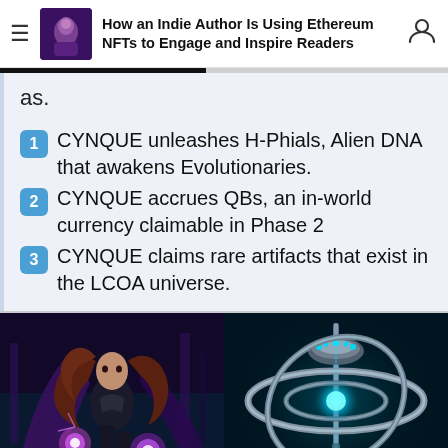How an Indie Author Is Using Ethereum NFTs to Engage and Inspire Readers
as.
1 CYNQUE unleashes H-Phials, Alien DNA that awakens Evolutionaries.
2 CYNQUE accrues QBs, an in-world currency claimable in Phase 2
3 CYNQUE claims rare artifacts that exist in the LCOA universe.
[Figure (illustration): Comic-style illustration of a woman in dark armor with flowing hair and glowing purple/pink energy in her hands, set against a sci-fi background.]
[Figure (illustration): Digital art of a glowing teal/cyan UFO or spacecraft with metallic rings orbiting it, set against a dark background.]